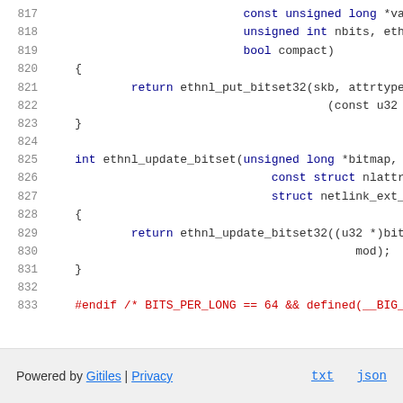[Figure (screenshot): Source code viewer showing C code lines 817-833, with syntax highlighting. Line numbers in gray on the left, keywords in dark blue, preprocessor directive in red.]
Powered by Gitiles | Privacy    txt  json